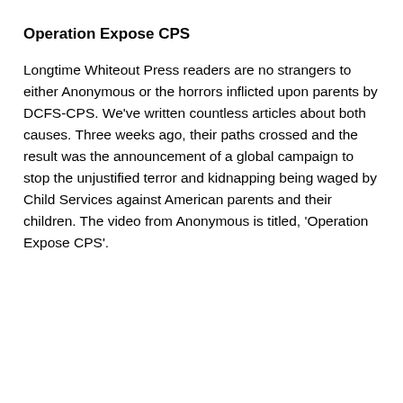Operation Expose CPS
Longtime Whiteout Press readers are no strangers to either Anonymous or the horrors inflicted upon parents by DCFS-CPS. We've written countless articles about both causes. Three weeks ago, their paths crossed and the result was the announcement of a global campaign to stop the unjustified terror and kidnapping being waged by Child Services against American parents and their children. The video from Anonymous is titled, 'Operation Expose CPS'.